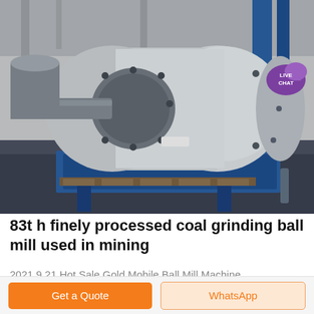[Figure (photo): Industrial photo of a large cylindrical ball mill component (trunnion/shaft assembly) painted white and gray, mounted on a blue metal stand in a factory/warehouse setting. The mill end cap has bolt flanges and a protruding steel shaft on the left. Blue structural columns visible in background.]
83t h finely processed coal grinding ball mill used in mining
2021 9 21 Hot Sale Gold Mobile Ball Mill Machine
Get a Quote
WhatsApp